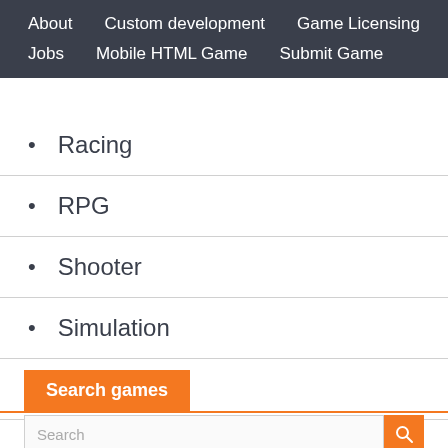About  Custom development  Game Licensing  Jobs  Mobile HTML Game  Submit Game
Racing
RPG
Shooter
Simulation
Sports
Strategy
Trivia
Search games
Search